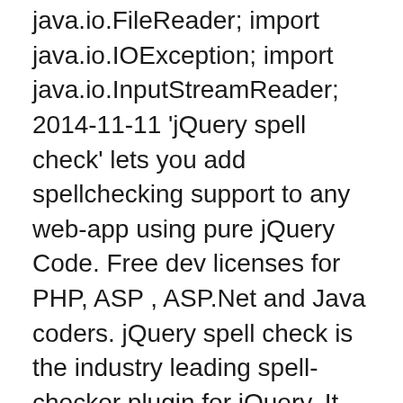java.io.FileReader; import java.io.IOException; import java.io.InputStreamReader; 2014-11-11 'jQuery spell check' lets you add spellchecking support to any web-app using pure jQuery Code. Free dev licenses for PHP, ASP , ASP.Net and Java coders. jQuery spell check is the industry leading spell-checker plugin for jQuery. It adds spell-check-as-you-type (scayt) or spell-checking dialog popup windows to any HTML web application using just 1 or 2 lines of jQuery code. On the web page * (without comments) it was 35 non-blank lines.
(File to submit: SpellChecker.java) The end is near! Finally, we need to put all of our classes together. A SpellChecker object takes in a Corrector and a Dictionary when constructed. When checkDocument is called, it should read tokens from the document and spell check them.